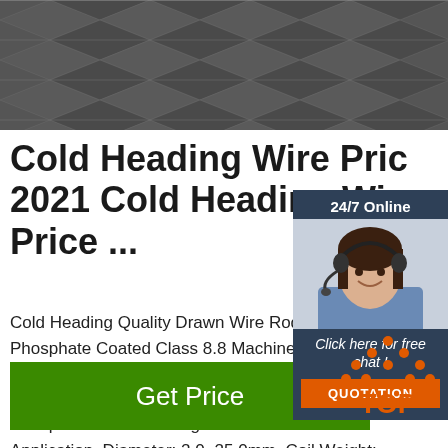[Figure (photo): Industrial angle steel / metal bar sections stacked diagonally, dark metallic color]
Cold Heading Wire Price 2021 Cold Heading Wire Price ...
Cold Heading Quality Drawn Wire Rod S... Phosphate Coated Class 8.8 Machine S... Boron Steel Wire. FOB Price: US $ 700~ Min. Order: 1 Ton. Surface Treatment: B... Phosphate Coated. Usage: for Fastener Application. Diameter: 2.0~25.0mm. Coil Weight: 100~1000kg Per Coil. Grade of Steel: 10b21.
[Figure (photo): Customer service agent - woman with headset smiling, with 24/7 Online banner, Click here for free chat text, and QUOTATION orange button]
[Figure (logo): TOP badge with orange dots forming a house/chevron shape above the word TOP in orange]
Get Price